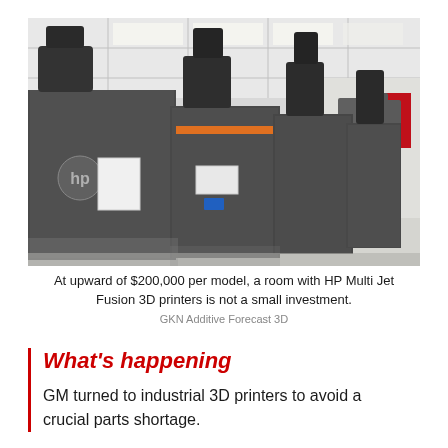[Figure (photo): A row of large dark grey HP Multi Jet Fusion industrial 3D printers lined up in a bright white corridor with exhaust ducts on top of each machine, viewed in perspective.]
At upward of $200,000 per model, a room with HP Multi Jet Fusion 3D printers is not a small investment.
GKN Additive Forecast 3D
What's happening
GM turned to industrial 3D printers to avoid a crucial parts shortage.